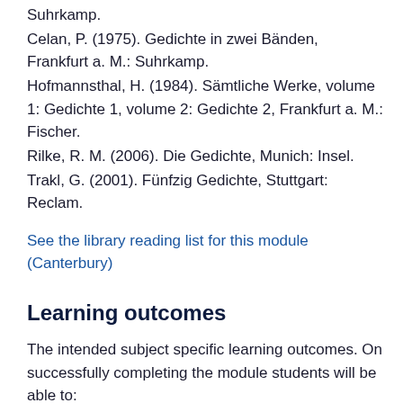Suhrkamp.
Celan, P. (1975). Gedichte in zwei Bänden, Frankfurt a. M.: Suhrkamp.
Hofmannsthal, H. (1984). Sämtliche Werke, volume 1: Gedichte 1, volume 2: Gedichte 2, Frankfurt a. M.: Fischer.
Rilke, R. M. (2006). Die Gedichte, Munich: Insel.
Trakl, G. (2001). Fünfzig Gedichte, Stuttgart: Reclam.
See the library reading list for this module (Canterbury)
Learning outcomes
The intended subject specific learning outcomes. On successfully completing the module students will be able to: